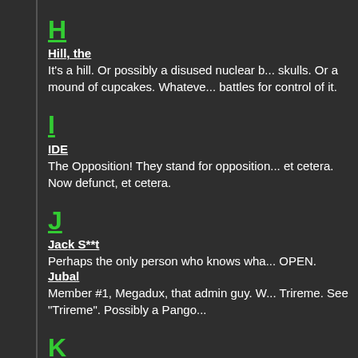H
Hill, the
It's a hill. Or possibly a disused nuclear b... skulls. Or a mound of cupcakes. Whateve... battles for control of it.
I
IDE
The Opposition! They stand for opposition... et cetera. Now defunct, et cetera.
J
Jack S**t
Perhaps the only person who knows wha... OPEN.
Jubal
Member #1, Megadux, that admin guy. W... Trireme. See "Trireme". Possibly a Pango...
K
Khan, The
Master of necropostomancy, last seen rid...